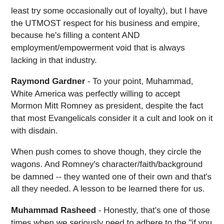least try some occasionally out of loyalty), but I have the UTMOST respect for his business and empire, because he's filling a content AND employment/empowerment void that is always lacking in that industry.
Raymond Gardner - To your point, Muhammad, White America was perfectly willing to accept Mormon Mitt Romney as president, despite the fact that most Evangelicals consider it a cult and look on it with disdain.
When push comes to shove though, they circle the wagons. And Romney’s character/faith/background be damned -- they wanted one of their own and that's all they needed. A lesson to be learned there for us.
Muhammad Rasheed - Honestly, that's one of those times when we seriously need to adhere to the "if you don't have anything nice to say, don't say anything at all" moments. If we don't like the content of his art, leave it alone and look at something we DO like. What possible good will come from filling up the Internet with negativity about this black man, especially for the creators among us who hope to see our